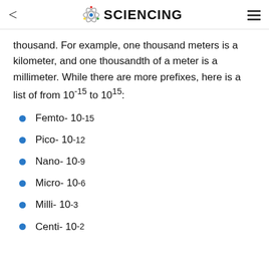< SCIENCING ≡
thousand. For example, one thousand meters is a kilometer, and one thousandth of a meter is a millimeter. While there are more prefixes, here is a list of from 10⁻¹⁵ to 10¹⁵:
Femto- 10⁻¹⁵
Pico- 10⁻¹²
Nano- 10⁻⁹
Micro- 10⁻⁶
Milli- 10⁻³
Centi- 10⁻²